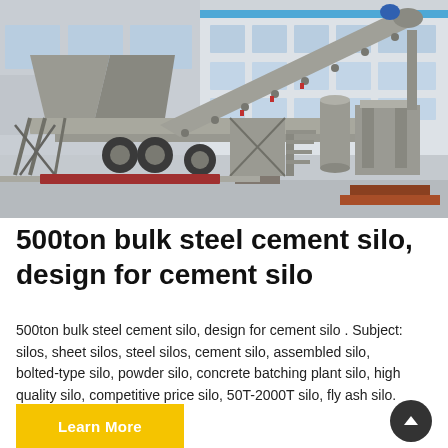[Figure (photo): Industrial mobile concrete batching plant / bulk steel cement silo on a trailer, photographed in front of a large factory building. The machine features a long inclined conveyor belt, aggregate bins, steel framework, and wheels. The setting appears to be a factory yard with a blue-accented white industrial building in the background.]
500ton bulk steel cement silo, design for cement silo
500ton bulk steel cement silo, design for cement silo . Subject: silos, sheet silos, steel silos, cement silo, assembled silo, bolted-type silo, powder silo, concrete batching plant silo, high quality silo, competitive price silo, 50T-2000T silo, fly ash silo. 1.Customized powder silos
Learn More